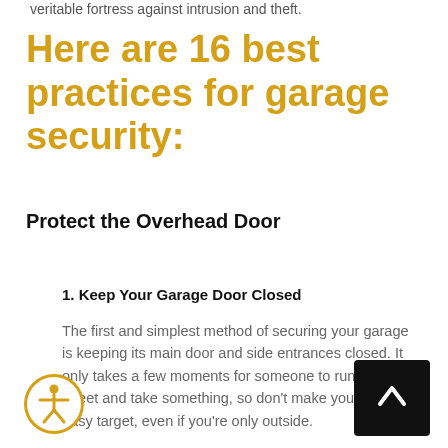veritable fortress against intrusion and theft.
Here are 16 best practices for garage security:
Protect the Overhead Door
1. Keep Your Garage Door Closed
The first and simplest method of securing your garage is keeping its main door and side entrances closed. It only takes a few moments for someone to run off the street and take something, so don't make yourself an easy target, even if you're only outside.
[Figure (illustration): Accessibility icon: person figure in a circle with gold/yellow border]
[Figure (illustration): Back-to-top button: black square with white upward chevron arrow]